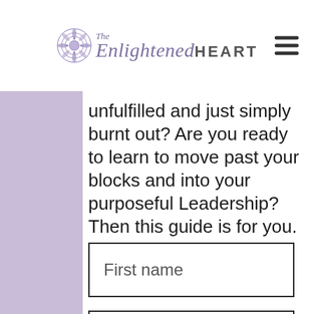The Enlightened HEART
unfulfilled and just simply burnt out? Are you ready to learn to move past your blocks and into your purposeful Leadership? Then this guide is for you.
First name
Email address